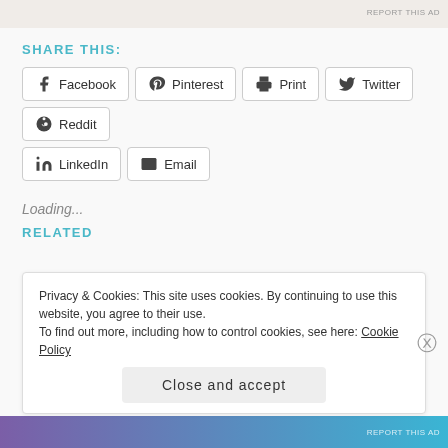SHARE THIS:
Facebook  Pinterest  Print  Twitter  Reddit  LinkedIn  Email
Loading...
RELATED
Privacy & Cookies: This site uses cookies. By continuing to use this website, you agree to their use.
To find out more, including how to control cookies, see here: Cookie Policy
Close and accept